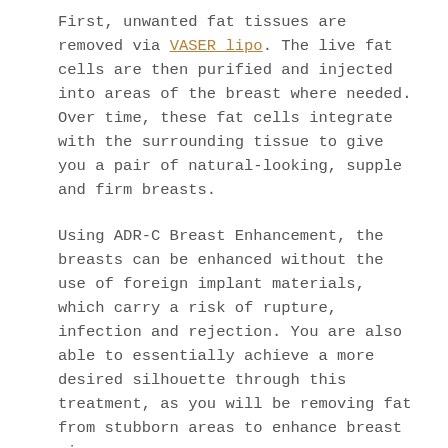First, unwanted fat tissues are removed via VASER lipo. The live fat cells are then purified and injected into areas of the breast where needed. Over time, these fat cells integrate with the surrounding tissue to give you a pair of natural-looking, supple and firm breasts.
Using ADR-C Breast Enhancement, the breasts can be enhanced without the use of foreign implant materials, which carry a risk of rupture, infection and rejection. You are also able to essentially achieve a more desired silhouette through this treatment, as you will be removing fat from stubborn areas to enhance breast size.
Every patient's personal goals are different and unique. During a private one-on-one consultation, you and Dr Puah will discuss your goals, the aesthetic changes you wish to make, whether ADR-C Breast Enhancement is right for you, and the outcomes you